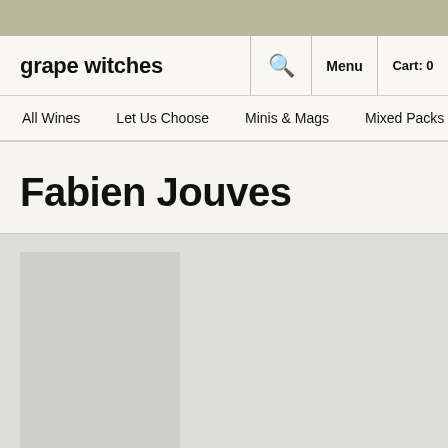[Figure (screenshot): Top olive/sage colored decorative banner strip]
grape witches  🔍  Menu  Cart: 0
All Wines  Let Us Choose  Minis & Mags  Mixed Packs  Sta...
Fabien Jouves
[Figure (photo): Product listing area with product card placeholder image on a light grey background]